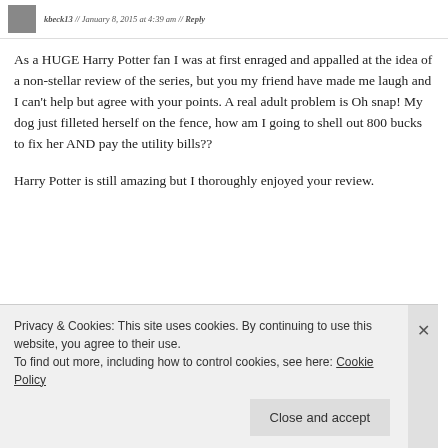kbeck13 // January 8, 2015 at 4:39 am // Reply
As a HUGE Harry Potter fan I was at first enraged and appalled at the idea of a non-stellar review of the series, but you my friend have made me laugh and I can't help but agree with your points. A real adult problem is Oh snap! My dog just filleted herself on the fence, how am I going to shell out 800 bucks to fix her AND pay the utility bills??
Harry Potter is still amazing but I thoroughly enjoyed your review.
Privacy & Cookies: This site uses cookies. By continuing to use this website, you agree to their use.
To find out more, including how to control cookies, see here: Cookie Policy
Close and accept